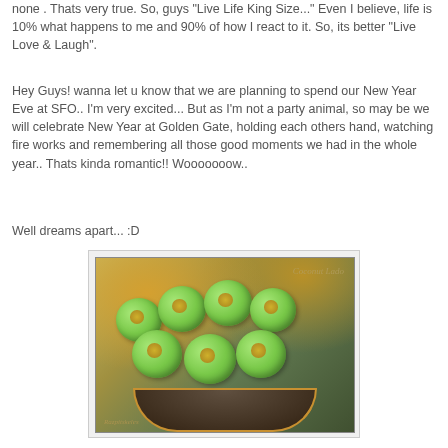none . Thats very true. So, guys "Live Life King Size..." Even I believe, life is 10% what happens to me and 90% of how I react to it. So, its better "Live Love & Laugh".
Hey Guys! wanna let u know that we are planning to spend our New Year Eve at SFO.. I'm very excited... But as I'm not a party animal, so may be we will celebrate New Year at Golden Gate, holding each others hand, watching fire works and remembering all those good moments we had in the whole year.. Thats kinda romantic!! Wooooooow..
Well dreams apart... :D
[Figure (photo): A bowl filled with green coconut ladoo (Indian sweets) with golden centers, placed in a dark decorative bowl with gold trim. Watermark text reads 'Coconut Ladoo' and 'Razorblade' (or similar).]